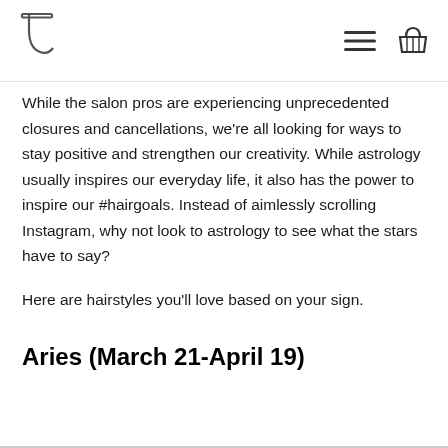[Logo] [Hamburger menu icon] [Shopping basket icon]
While the salon pros are experiencing unprecedented closures and cancellations, we're all looking for ways to stay positive and strengthen our creativity. While astrology usually inspires our everyday life, it also has the power to inspire our #hairgoals. Instead of aimlessly scrolling Instagram, why not look to astrology to see what the stars have to say?
Here are hairstyles you'll love based on your sign.
Aries (March 21-April 19)